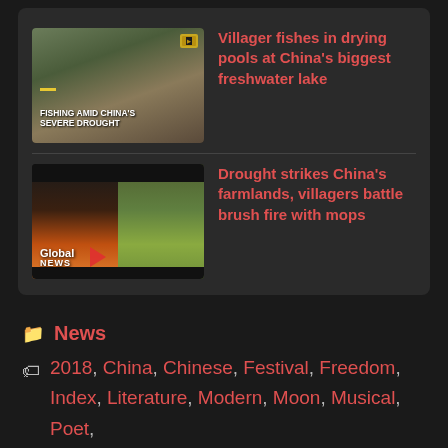[Figure (screenshot): News thumbnail showing a villager fishing in drying pools — labeled 'FISHING AMID CHINA'S SEVERE DROUGHT']
Villager fishes in drying pools at China's biggest freshwater lake
[Figure (screenshot): News thumbnail showing farmland fire with Global News logo and arrow play button]
Drought strikes China's farmlands, villagers battle brush fire with mops
News
2018, China, Chinese, Festival, Freedom, Index, Literature, Modern, Moon, Musical, Poet, Poetry, Rendition, River, Singer, Television, UPS, Yangtze